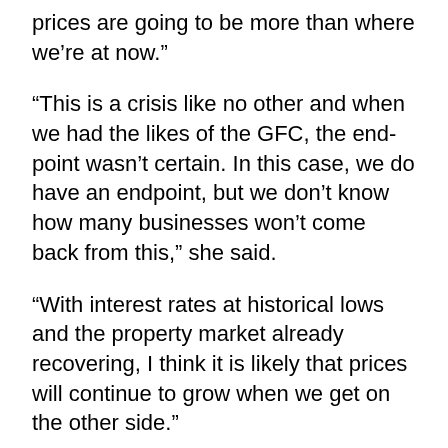prices are going to be more than where we’re at now.”
“This is a crisis like no other and when we had the likes of the GFC, the end-point wasn’t certain. In this case, we do have an endpoint, but we don’t know how many businesses won’t come back from this,” she said.
“With interest rates at historical lows and the property market already recovering, I think it is likely that prices will continue to grow when we get on the other side.”
Leanne Pilkington also felt that there is some risk to property investors who might be forced to sell.
“I also think that investors are far more likely to be selling than owner occupiers.